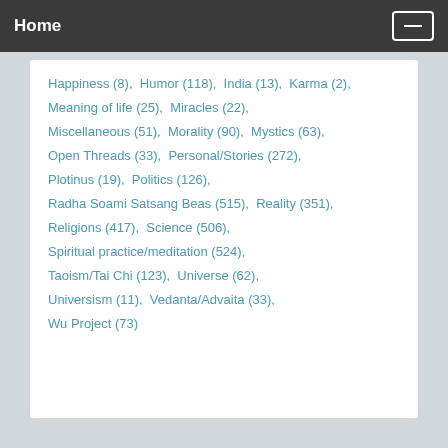Home
Happiness (8),  Humor (118),  India (13),  Karma (2),
Meaning of life (25),  Miracles (22),
Miscellaneous (51),  Morality (90),  Mystics (63),
Open Threads (33),  Personal/Stories (272),
Plotinus (19),  Politics (126),
Radha Soami Satsang Beas (515),  Reality (351),
Religions (417),  Science (506),
Spiritual practice/meditation (524),
Taoism/Tai Chi (123),  Universe (62),
Universism (11),  Vedanta/Advaita (33),
Wu Project (73)